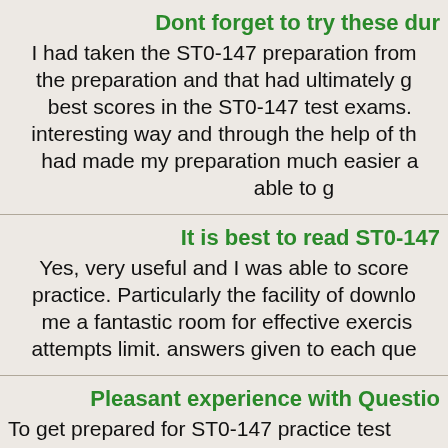Dont forget to try these dur
I had taken the ST0-147 preparation from the preparation and that had ultimately g best scores in the ST0-147 test exams. interesting way and through the help of th had made my preparation much easier a able to g
It is best to read ST0-147
Yes, very useful and I was able to score practice. Particularly the facility of downlo me a fantastic room for effective exercis attempts limit. answers given to each que
Pleasant experience with Questio
To get prepared for ST0-147 practice test